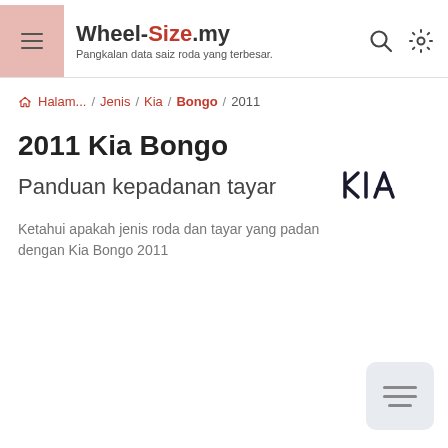Wheel-Size.my — Pangkalan data saiz roda yang terbesar.
Halam... / Jenis / Kia / Bongo / 2011
2011 Kia Bongo
Panduan kepadanan tayar
Ketahui apakah jenis roda dan tayar yang padan dengan Kia Bongo 2011